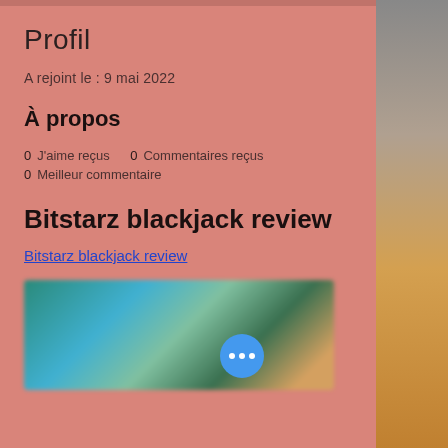Profil
A rejoint le : 9 mai 2022
À propos
0 J'aime reçus   0 Commentaires reçus
0 Meilleur commentaire
Bitstarz blackjack review
Bitstarz blackjack review
[Figure (photo): Blurred screenshot of a casino or game interface with colorful characters on a teal/green background, with a blue three-dot menu button overlay]